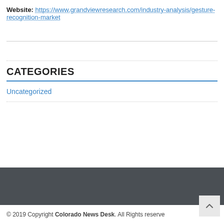Website: https://www.grandviewresearch.com/industry-analysis/gesture-recognition-market
CATEGORIES
Uncategorized
© 2019 Copyright Colorado News Desk. All Rights reserved